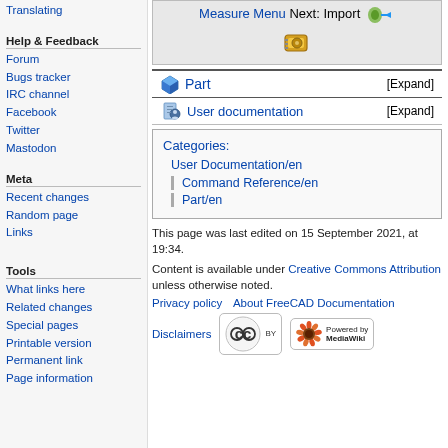Translating
Help & Feedback
Forum
Bugs tracker
IRC channel
Facebook
Twitter
Mastodon
Meta
Recent changes
Random page
Links
Tools
What links here
Related changes
Special pages
Printable version
Permanent link
Page information
[Figure (screenshot): Measure Menu Next: Import navigation box with icons]
[Figure (screenshot): Part collapsible navigation bar with cube icon, [Expand]]
[Figure (screenshot): User documentation collapsible bar with icon, [Expand]]
Categories: User Documentation/en | Command Reference/en | Part/en
This page was last edited on 15 September 2021, at 19:34.
Content is available under Creative Commons Attribution unless otherwise noted.
Privacy policy   About FreeCAD Documentation
Disclaimers